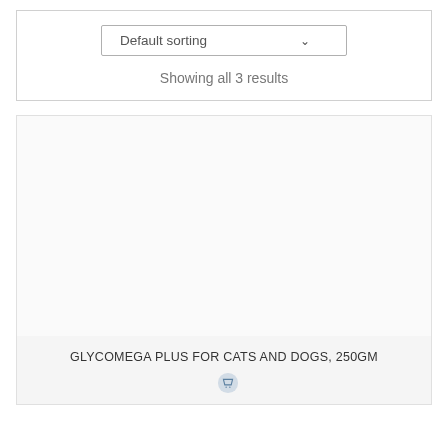Default sorting
Showing all 3 results
[Figure (other): Empty product image area, white/light gray background]
GLYCOMEGA PLUS FOR CATS AND DOGS, 250GM